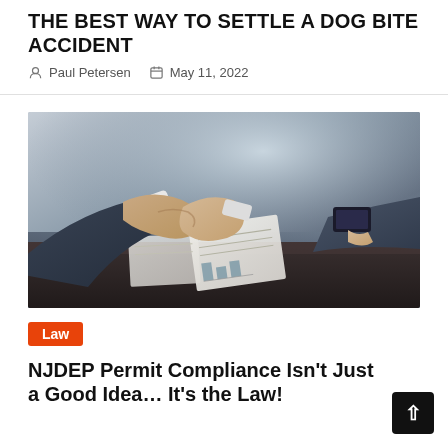THE BEST WAY TO SETTLE A DOG BITE ACCIDENT
Paul Petersen   May 11, 2022
[Figure (photo): Two businesspeople in suits shaking hands across a table with documents and a smartphone visible]
Law
NJDEP Permit Compliance Isn't Just a Good Idea… It's the Law!